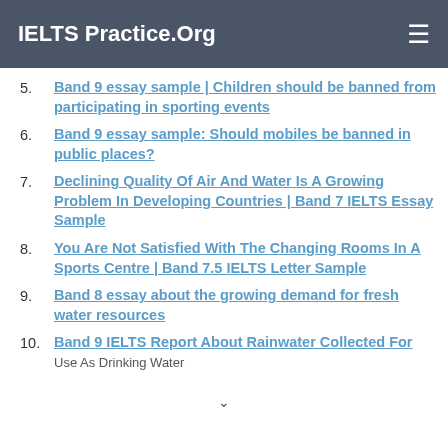IELTS Practice.Org
5. Band 9 essay sample | Children should be banned from participating in sporting events
6. Band 9 essay sample: Should mobiles be banned in public places?
7. Declining Quality Of Air And Water Is A Growing Problem In Developing Countries | Band 7 IELTS Essay Sample
8. You Are Not Satisfied With The Changing Rooms In A Sports Centre | Band 7.5 IELTS Letter Sample
9. Band 8 essay about the growing demand for fresh water resources
10. Band 9 IELTS Report About Rainwater Collected For...